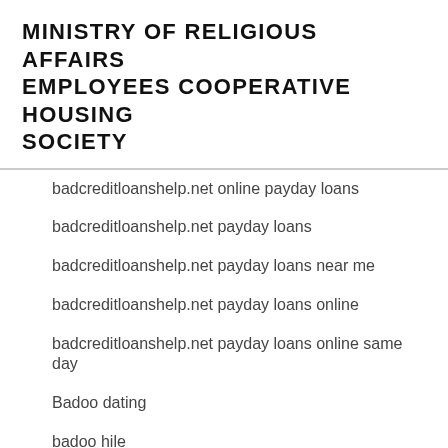MINISTRY OF RELIGIOUS AFFAIRS EMPLOYEES COOPERATIVE HOUSING SOCIETY
badcreditloanshelp.net online payday loans
badcreditloanshelp.net payday loans
badcreditloanshelp.net payday loans near me
badcreditloanshelp.net payday loans online
badcreditloanshelp.net payday loans online same day
Badoo dating
badoo hile
badoo it reviews
Badoo lesbi dating
Badoo lesbi hook up